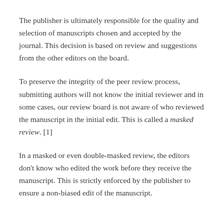The publisher is ultimately responsible for the quality and selection of manuscripts chosen and accepted by the journal. This decision is based on review and suggestions from the other editors on the board.
To preserve the integrity of the peer review process, submitting authors will not know the initial reviewer and in some cases, our review board is not aware of who reviewed the manuscript in the initial edit. This is called a masked review. [1]
In a masked or even double-masked review, the editors don't know who edited the work before they receive the manuscript. This is strictly enforced by the publisher to ensure a non-biased edit of the manuscript.